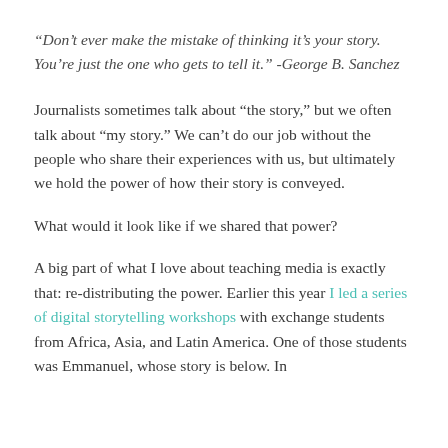“Don’t ever make the mistake of thinking it’s your story. You’re just the one who gets to tell it.” -George B. Sanchez
Journalists sometimes talk about “the story,” but we often talk about “my story.” We can’t do our job without the people who share their experiences with us, but ultimately we hold the power of how their story is conveyed.
What would it look like if we shared that power?
A big part of what I love about teaching media is exactly that: re-distributing the power. Earlier this year I led a series of digital storytelling workshops with exchange students from Africa, Asia, and Latin America. One of those students was Emmanuel, whose story is below. In